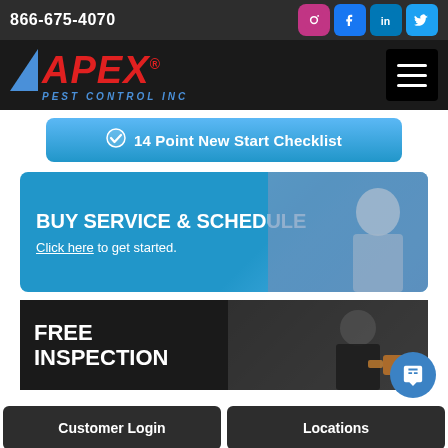866-675-4070
[Figure (logo): Apex Pest Control Inc logo with red italic APEX text, blue triangle, and blue PEST CONTROL INC subtitle]
✔ 14 Point New Start Checklist
BUY SERVICE & SCHEDULE
Click here to get started.
FREE INSPECTION
Customer Login | Locations